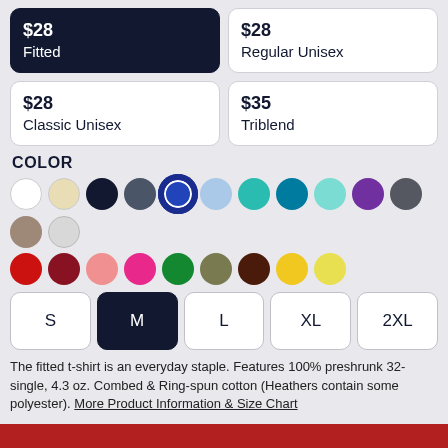$28 Fitted
$28 Regular Unisex
$28 Classic Unisex
$35 Triblend
COLOR
[Figure (infographic): Color swatches: white, cream, navy, dark gray, royal blue (selected), light blue, teal, dark teal, light teal, purple, charcoal, tan/mocha, light gray, red, dark red, pink, hot pink, green, olive, dark brown, yellow, light yellow]
[Figure (infographic): Size selector buttons: S, M (selected/dark), L, XL, 2XL]
The fitted t-shirt is an everyday staple. Features 100% preshrunk 32-single, 4.3 oz. Combed & Ring-spun cotton (Heathers contain some polyester). More Product Information & Size Chart